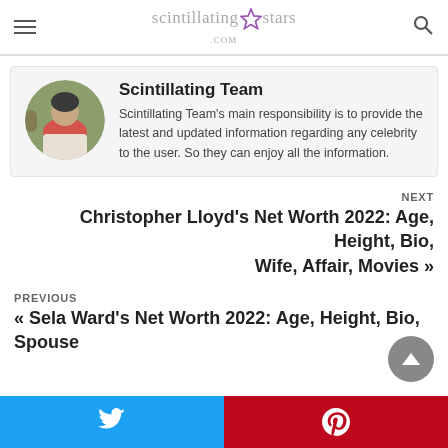scintillating stars .com
Scintillating Team
Scintillating Team's main responsibility is to provide the latest and updated information regarding any celebrity to the user. So they can enjoy all the information.
NEXT
Christopher Lloyd's Net Worth 2022: Age, Height, Bio, Wife, Affair, Movies »
PREVIOUS
« Sela Ward's Net Worth 2022: Age, Height, Bio, Spouse